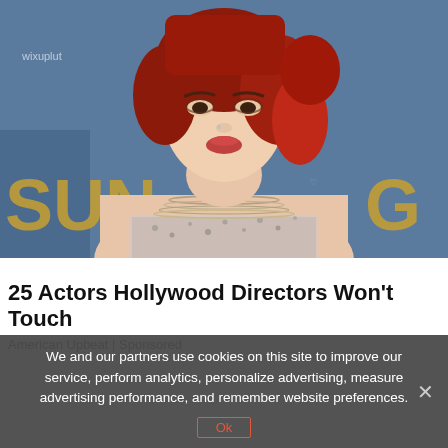[Figure (photo): A young woman with red hair wearing a strapless floral outfit and layered necklaces, posed at what appears to be an event with a blue/gold backdrop]
25 Actors Hollywood Directors Won't Touch
American Upbeat | Sponsored
We and our partners use cookies on this site to improve our service, perform analytics, personalize advertising, measure advertising performance, and remember website preferences.
Ok